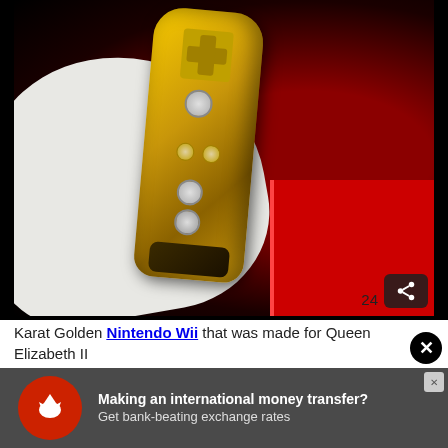[Figure (photo): A white-gloved hand holding a gold-plated Nintendo Wii remote against a dark background with a red box/case visible on the right side. A share button icon is visible in the bottom right of the image, along with the number 24.]
Karat Golden Nintendo Wii that was made for Queen Elizabeth II
[Figure (other): Advertisement banner: Red circular logo with white eagle icon, text 'Making an international money transfer? Get bank-beating exchange rates']